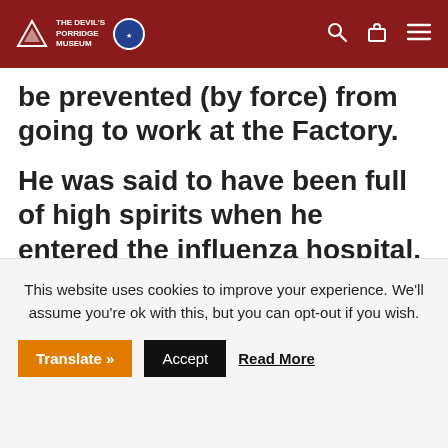THE DEVIL'S PORRIDGE MUSEUM
be prevented (by force) from going to work at the Factory.
He was said to have been full of high spirits when he entered the influenza hospital.
But after a few days, pneumonia began to develop
This website uses cookies to improve your experience. We'll assume you're ok with this, but you can opt-out if you wish.